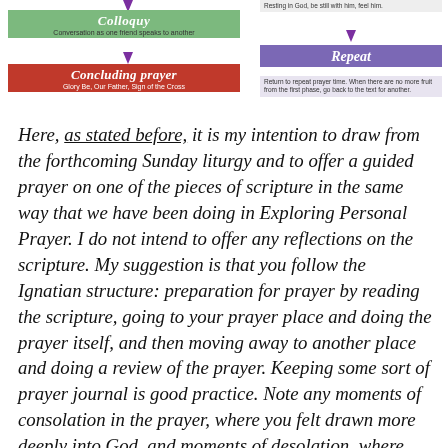[Figure (flowchart): Diagram showing two columns: left column has Colloquy box (green, 'Conversation as one friend speaks to another') with arrow pointing down to Concluding prayer box (red, 'Glory Be, Our Father, Sign of the Cross'); right column has a light box with text 'Resting in God, be still with him, feel him.' with arrow pointing down to Repeat box (purple) with text below 'Return to repeat prayer time. When there are no more fruit from the first phase, go back to the text for another.']
Here, as stated before, it is my intention to draw from the forthcoming Sunday liturgy and to offer a guided prayer on one of the pieces of scripture in the same way that we have been doing in Exploring Personal Prayer. I do not intend to offer any reflections on the scripture. My suggestion is that you follow the Ignatian structure: preparation for prayer by reading the scripture, going to your prayer place and doing the prayer itself, and then moving away to another place and doing a review of the prayer. Keeping some sort of prayer journal is good practice. Note any moments of consolation in the prayer, where you felt drawn more deeply into God, and moments of desolation, where prayer was disturbed, where you were distracted, and